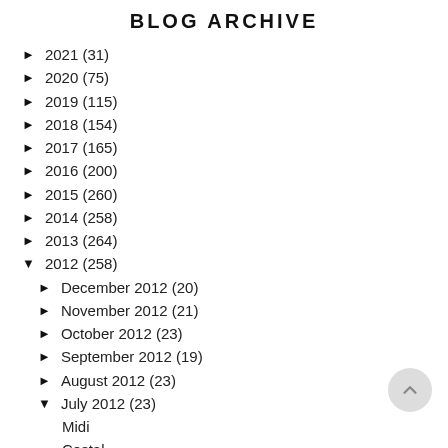BLOG ARCHIVE
► 2021 (31)
► 2020 (75)
► 2019 (115)
► 2018 (154)
► 2017 (165)
► 2016 (200)
► 2015 (260)
► 2014 (258)
► 2013 (264)
▼ 2012 (258)
► December 2012 (20)
► November 2012 (21)
► October 2012 (23)
► September 2012 (19)
► August 2012 (23)
▼ July 2012 (23)
Midi
Costal
The right equipment
all of my clothes feel like somebodys old throw aways